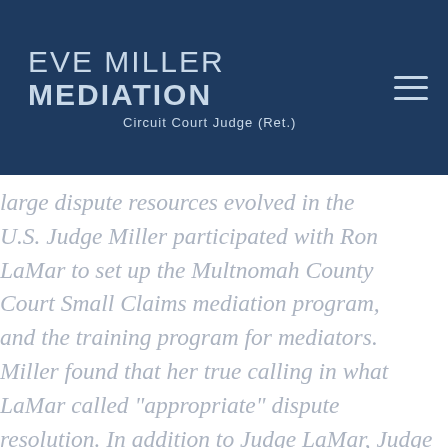EVE MILLER MEDIATION Circuit Court Judge (Ret.)
large dispute resources evolved in the U.S. Judge Miller participated with Ron LaMar to set up the Multnomah County Court Small Claims mediation program, and the training program for mediators. Miller found that her true calling in what LaMar called "appropriate" dispute resolution. In addition to Judge LaMar, Judge Miller learned judicial settlement techniques from C.P. James, Sid Brockley and Pat Curran. After 20 years on the bench, Judge Miller notes that settlement conferences played an important role...